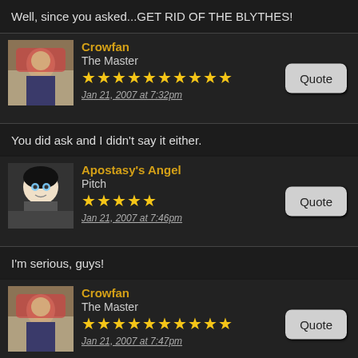Well, since you asked...GET RID OF THE BLYTHES!
Crowfan
The Master
★★★★★★★★★★
Jan 21, 2007 at 7:32pm
You did ask and I didn't say it either.
Apostasy's Angel
Pitch
★★★★★
Jan 21, 2007 at 7:46pm
I'm serious, guys!
Crowfan
The Master
★★★★★★★★★★
Jan 21, 2007 at 7:47pm
Is there any way you could find out how long you'd be temporary/permanent? If it's going to be something like six months or